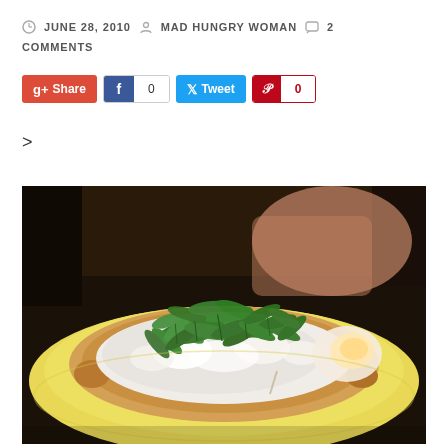JUNE 28, 2010  MAD HUNGRY WOMAN  2 COMMENTS
Share  0  Tweet  0
>
[Figure (photo): Close-up photo of a white pizza topped with fresh green arugula leaves on a yellow plate, in a restaurant setting.]